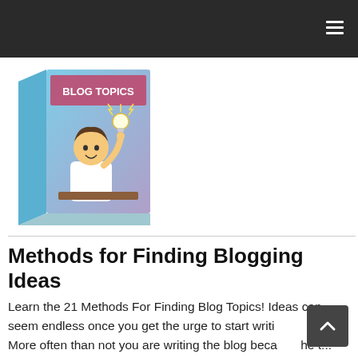[Figure (illustration): 3D book cover titled 'Blog Topics' featuring a cartoon character with a lightbulb above their head, pointing upward, with blue gradient background]
Methods for Finding Blogging Ideas
Learn the 21 Methods For Finding Blog Topics! Ideas can seem endless once you get the urge to start writing a blog. More often than not you are writing the blog because the t...